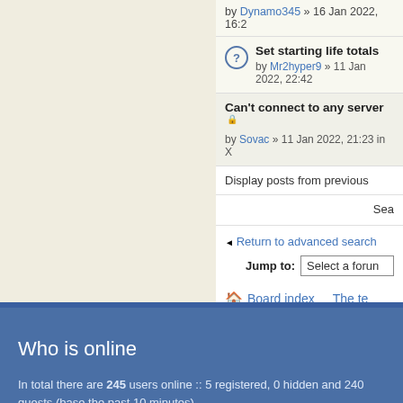by Dynamo345 » 16 Jan 2022, 16:2
Set starting life totals by Mr2hyper9 » 11 Jan 2022, 22:42
Can't connect to any server by Sovac » 11 Jan 2022, 21:23 in X
Display posts from previous
Sea
Return to advanced search
Jump to: Select a forum
Board index   The te
Who is online
In total there are 245 users online :: 5 registered, 0 hidden and 240 guests (base the past 10 minutes).